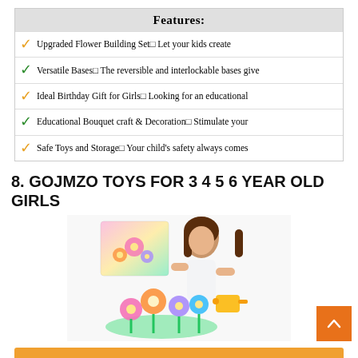| Features: |
| --- |
| ✓ Upgraded Flower Building Setn Let your kids create |
| ✓ Versatile Basesn The reversible and interlockable bases give |
| ✓ Ideal Birthday Gift for Girlsn Looking for an educational |
| ✓ Educational Bouquet craft & Decorationn Stimulate your |
| ✓ Safe Toys and Storagen Your child's safety always comes |
8. GOJMZO TOYS FOR 3 4 5 6 YEAR OLD GIRLS
[Figure (photo): Product photo of GOJMZO flower building set toy with a young girl and colorful flower arrangement, plus product box.]